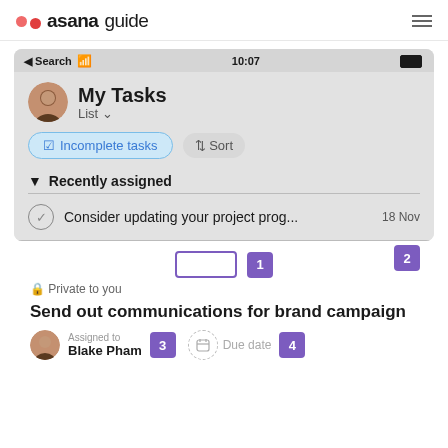asana guide
[Figure (screenshot): Asana mobile app screenshot showing My Tasks view with 'Recently assigned' section and a task: 'Consider updating your project prog... 18 Nov']
Private to you
Send out communications for brand campaign
Assigned to
Blake Pham
Due date